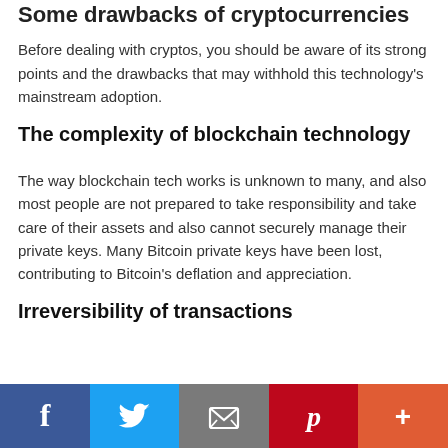Some drawbacks of cryptocurrencies
Before dealing with cryptos, you should be aware of its strong points and the drawbacks that may withhold this technology's mainstream adoption.
The complexity of blockchain technology
The way blockchain tech works is unknown to many, and also most people are not prepared to take responsibility and take care of their assets and also cannot securely manage their private keys. Many Bitcoin private keys have been lost, contributing to Bitcoin's deflation and appreciation.
Irreversibility of transactions
Social share bar: Facebook, Twitter, Email, Pinterest, More